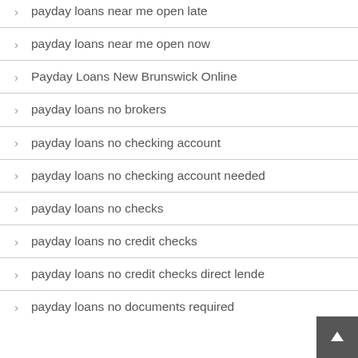payday loans near me open late
payday loans near me open now
Payday Loans New Brunswick Online
payday loans no brokers
payday loans no checking account
payday loans no checking account needed
payday loans no checks
payday loans no credit checks
payday loans no credit checks direct lender
payday loans no documents required